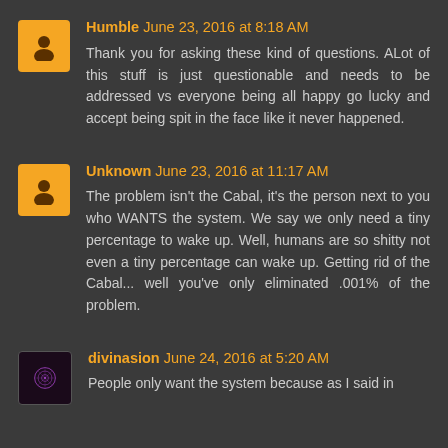Humble June 23, 2016 at 8:18 AM
Thank you for asking these kind of questions. ALot of this stuff is just questionable and needs to be addressed vs everyone being all happy go lucky and accept being spit in the face like it never happened.
Unknown June 23, 2016 at 11:17 AM
The problem isn't the Cabal, it's the person next to you who WANTS the system. We say we only need a tiny percentage to wake up. Well, humans are so shitty not even a tiny percentage can wake up. Getting rid of the Cabal... well you've only eliminated .001% of the problem.
divinasion June 24, 2016 at 5:20 AM
People only want the system because as I said in